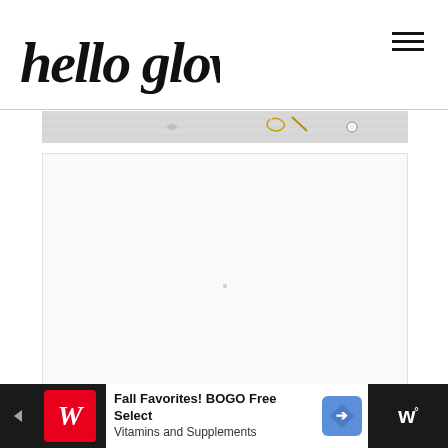hello glow
[Figure (photo): Partial image strip showing a light/white surface with some small objects — appears to be a lifestyle or beauty flat-lay photo, cropped]
[Figure (other): White/light grey rectangular content area placeholder — appears to be an advertisement or image loading area with a small centered dot]
[Figure (other): Walgreens advertisement banner at bottom — dark background on left and right, white center with Walgreens logo (red W), text 'Fall Favorites! BOGO Free Select Vitamins and Supplements', a blue diamond navigation arrow icon, and 'w°' text on dark right side]